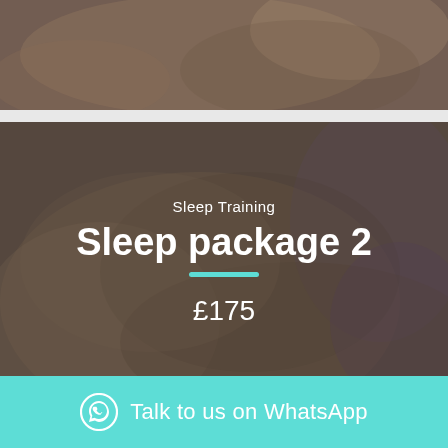[Figure (photo): Close-up photo of a baby lying down, partially visible at top of page]
[Figure (photo): Baby lying down being held, dark overlay card with sleep package information]
Sleep Training
Sleep package 2
£175
Talk to us on WhatsApp